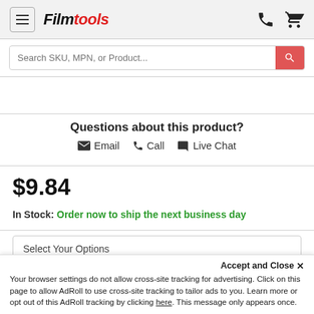[Figure (logo): Filmtools logo with menu button and phone/cart icons in header]
Search SKU, MPN, or Product...
Questions about this product?
Email  Call  Live Chat
$9.84
In Stock: Order now to ship the next business day
Select Your Options
Accept and Close ×
Your browser settings do not allow cross-site tracking for advertising. Click on this page to allow AdRoll to use cross-site tracking to tailor ads to you. Learn more or opt out of this AdRoll tracking by clicking here. This message only appears once.